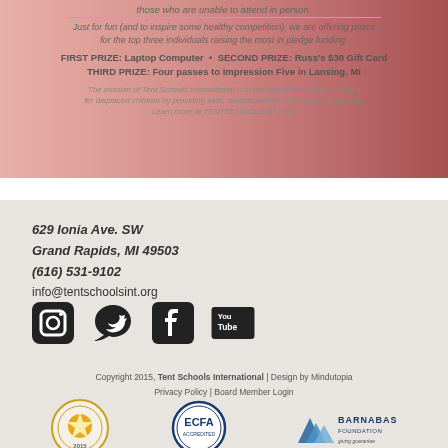those who are unable to attend in person.
Just for fun (and to inspire some healthy competition), we are offering prizes for the top three individuals raising the most in pledge funding.
FIRST PRIZE: Laptop Computer • SECOND PRIZE: Russ's $30 Gift Card THIRD PRIZE: Four passes to Impression Five in Lansing, MI
The mission of Tent Schools International is to demonstrate the love of Jesus for displaced children by providing safe, compassionate learning environments. Learn more at TENTSCHOOLSINT.ORG
629 Ionia Ave. SW
Grand Rapids, MI 49503
(616) 531-9102
info@tentschoolsint.org
[Figure (infographic): Social media icons: Instagram, Twitter, Facebook, YouTube]
Copyright 2015, Tent Schools International | Design by Mindutopia
Privacy Policy | Board Member Login
[Figure (logo): GuideStar Gold Transparency 2015 seal, ECFA Accredited seal, Barnabas Foundation giving guarantee logo]